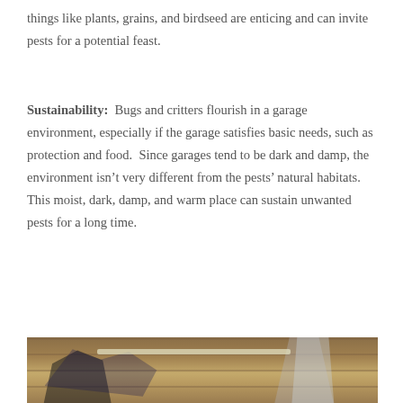things like plants, grains, and birdseed are enticing and can invite pests for a potential feast.
Sustainability:  Bugs and critters flourish in a garage environment, especially if the garage satisfies basic needs, such as protection and food.  Since garages tend to be dark and damp, the environment isn't very different from the pests' natural habitats.  This moist, dark, damp, and warm place can sustain unwanted pests for a long time.
[Figure (photo): Interior of a garage with bicycles/equipment hanging from or leaning against wooden ceiling/walls, and a metal ladder or shelving unit on the right side. The ceiling is made of wooden planks with overhead fluorescent light strips visible.]